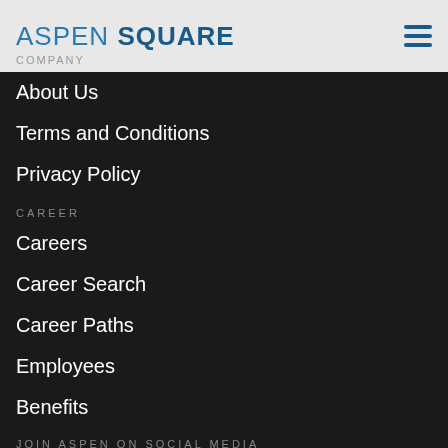ASPEN SQUARE
COMPANY
About Us
Terms and Conditions
Privacy Policy
CAREER
Careers
Career Search
Career Paths
Employees
Benefits
JOIN ASPEN ON SOCIAL MEDIA
[Figure (infographic): Social media icons: Facebook, Pinterest, Google+, YouTube]
Equal Housing Opportunity